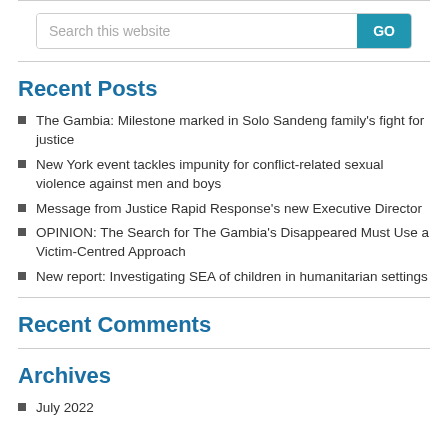Search this website
Recent Posts
The Gambia: Milestone marked in Solo Sandeng family's fight for justice
New York event tackles impunity for conflict-related sexual violence against men and boys
Message from Justice Rapid Response's new Executive Director
OPINION: The Search for The Gambia's Disappeared Must Use a Victim-Centred Approach
New report: Investigating SEA of children in humanitarian settings
Recent Comments
Archives
July 2022